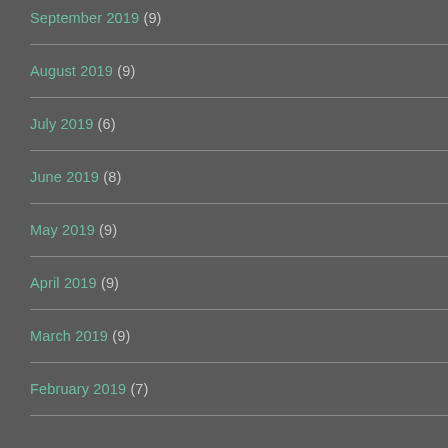September 2019 (9)
August 2019 (9)
July 2019 (6)
June 2019 (8)
May 2019 (9)
April 2019 (9)
March 2019 (9)
February 2019 (7)